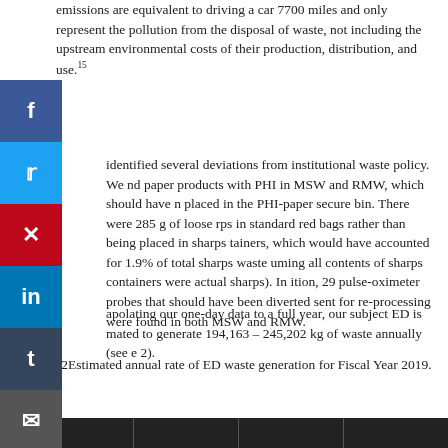emissions are equivalent to driving a car 7700 miles and only represent the pollution from the disposal of waste, not including the upstream environmental costs of their production, distribution, and use.15
identified several deviations from institutional waste policy. We nd paper products with PHI in MSW and RMW, which should have n placed in the PHI-paper secure bin. There were 285 g of loose rps in standard red bags rather than being placed in sharps tainers, which would have accounted for 1.9% of total sharps waste uming all contents of sharps containers were actual sharps). In ition, 29 pulse-oximeter probes that should have been diverted sent for re-processing were found in both MSW and RMW.
apolating our one-day data to a full year, our subject ED is mated to generate 194,163 – 245,202 kg of waste annually (see e 2).
Table 2Estimated annual rate of ED waste generation for Fiscal Year 2019.